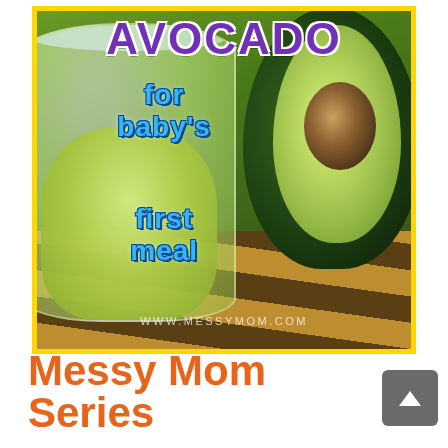[Figure (photo): Promotional image showing avocado puree in a glass jar next to a halved avocado on a cutting board. Bold text overlays read 'AVOCADO for baby's first meal' with 'www.messymom.com' watermark. Yellow border around the image.]
Messy Mom Series